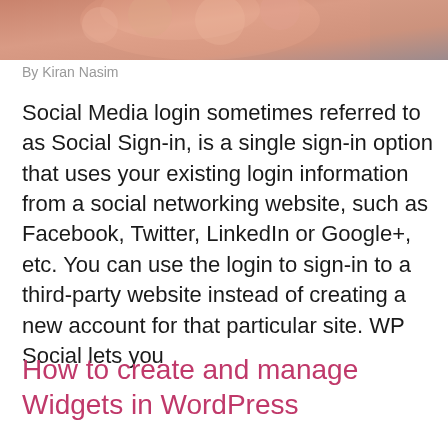[Figure (photo): Partial photo of a person wearing a pink/coral knitted or crocheted garment, cropped at the top of the page]
By Kiran Nasim
Social Media login sometimes referred to as Social Sign-in, is a single sign-in option that uses your existing login information from a social networking website, such as Facebook, Twitter, LinkedIn or Google+, etc. You can use the login to sign-in to a third-party website instead of creating a new account for that particular site. WP Social lets you
How to create and manage Widgets in WordPress